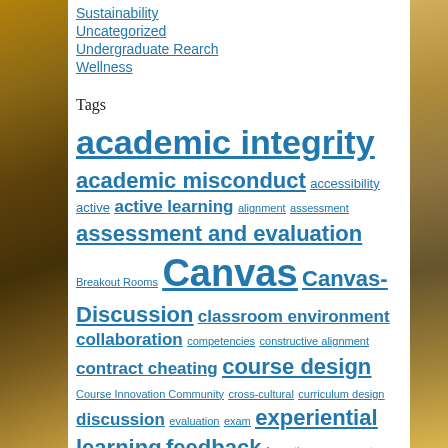Sustainability
Uncategorized
Undergraduate Rearch
Wellness
Tags
academic integrity academic misconduct accessibility active active learning alignment assessment assessment and evaluation Breakout Rooms Canvas Canvas-Discussion classroom environment collaboration competencies constructive alignment contract cheating course design Course Innovation Community cross-cultural curriculum design discussion evaluation exam experiential learning feedback formative assessment Groups intercultural international